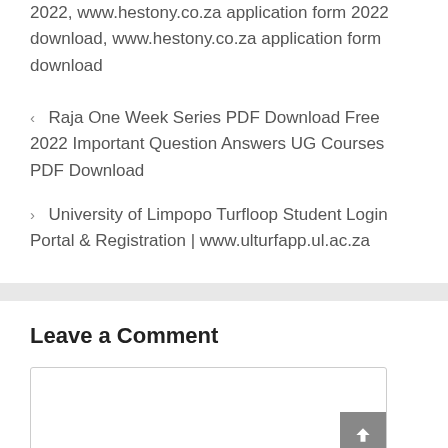2022, www.hestony.co.za application form 2022 download, www.hestony.co.za application form download
< Raja One Week Series PDF Download Free 2022 Important Question Answers UG Courses PDF Download
> University of Limpopo Turfloop Student Login Portal & Registration | www.ulturfapp.ul.ac.za
Leave a Comment